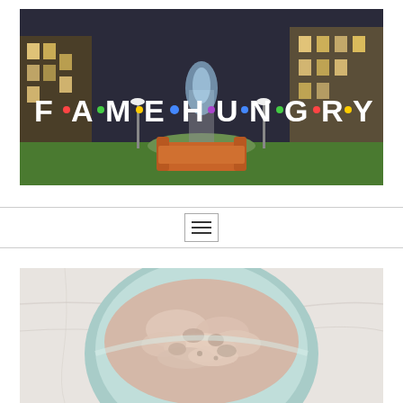[Figure (logo): Fame Hungry logo banner showing a nighttime scene with European buildings, a fountain, an orange couch on grass, and the text FAME·HUNGRY in white stylized letters with colored dots between letters]
[Figure (other): Navigation bar with hamburger menu icon (three horizontal lines) centered, bordered top and bottom]
[Figure (photo): Close-up photo of a light blue bowl containing a creamy, chunky food mixture (appears to be a dip or salad) on a marble surface]